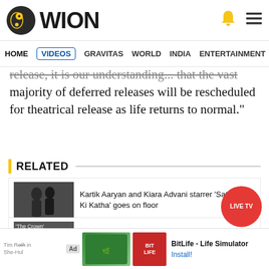[Figure (logo): WION logo with circular icon and text]
HOME VIDEOS GRAVITAS WORLD INDIA ENTERTAINMENT SPORTS
release, it is our understanding... that the vast majority of deferred releases will be rescheduled for theatrical release as life returns to normal."
RELATED
Kartik Aaryan and Kiara Advani starrer 'Satyaprem Ki Katha' goes on floor
'The Crown' season 6: Netflix drama adds its Prince William and Kate Middleton
Tim Roth in 'She-Hulk': ...ulk':
[Figure (other): BitLife - Life Simulator ad banner with green and red game images]